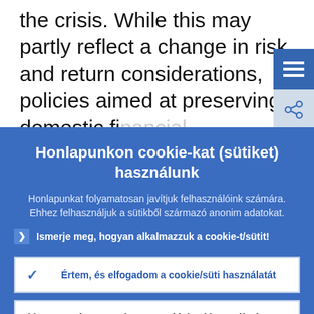the crisis. While this may partly reflect a change in risk and return considerations, policies aimed at preserving domestic fi...
Honlapunkon cookie-kat (sütiket) használunk
Honlapunkat folyamatosan javítjuk felhasználóink számára. Ehhez felhasználjuk a sütikből származó anonim adatokat.
Ismerje meg, hogyan alkalmazzuk a cookie-t/sütit!
Értem, és elfogadom a cookie/süti használatát
Visszautasítom a cookie/süti használatát